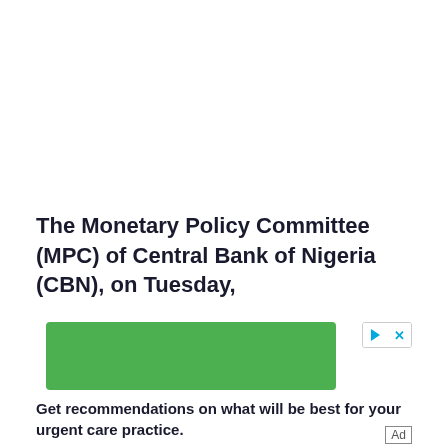The Monetary Policy Committee (MPC) of Central Bank of Nigeria (CBN), on Tuesday,
[Figure (other): Advertisement overlay with green banner and ad controls (play and close buttons). Text reads: Get recommendations on what will be best for your urgent care practice. Ad label shown.]